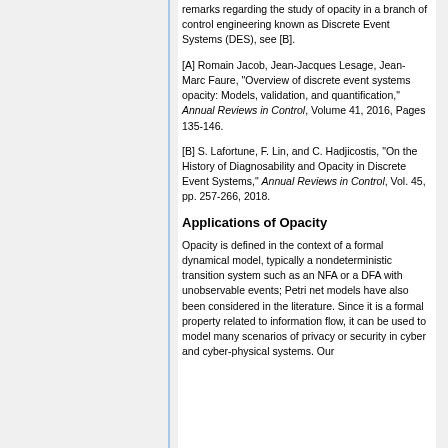remarks regarding the study of opacity in a branch of control engineering known as Discrete Event Systems (DES), see [B].
[A] Romain Jacob, Jean-Jacques Lesage, Jean-Marc Faure, "Overview of discrete event systems opacity: Models, validation, and quantification," Annual Reviews in Control, Volume 41, 2016, Pages 135-146.
[B] S. Lafortune, F. Lin, and C. Hadjicostis, "On the History of Diagnosability and Opacity in Discrete Event Systems," Annual Reviews in Control, Vol. 45, pp. 257-266, 2018.
Applications of Opacity
Opacity is defined in the context of a formal dynamical model, typically a nondeterministic transition system such as an NFA or a DFA with unobservable events; Petri net models have also been considered in the literature. Since it is a formal property related to information flow, it can be used to model many scenarios of privacy or security in cyber and cyber-physical systems. Our